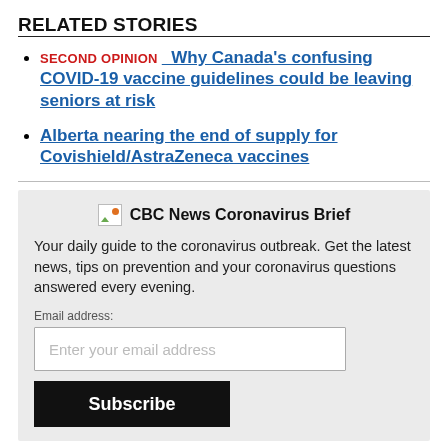RELATED STORIES
SECOND OPINION   Why Canada's confusing COVID-19 vaccine guidelines could be leaving seniors at risk
Alberta nearing the end of supply for Covishield/AstraZeneca vaccines
CBC News Coronavirus Brief
Your daily guide to the coronavirus outbreak. Get the latest news, tips on prevention and your coronavirus questions answered every evening.
Email address:
Enter your email address
Subscribe